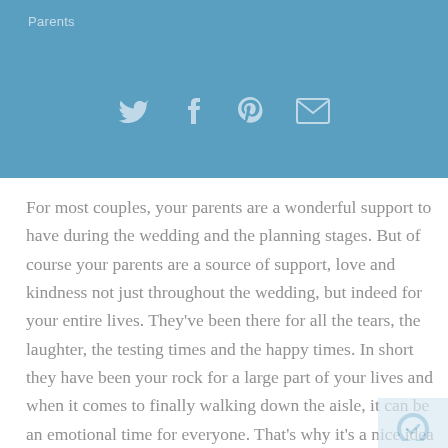Parents
[Figure (infographic): Social sharing icons: Twitter bird, Facebook f, Pinterest p, and envelope/email icon, displayed in a row on a blue background]
For most couples, your parents are a wonderful support to have during the wedding and the planning stages. But of course your parents are a source of support, love and kindness not just throughout the wedding, but indeed for your entire lives. They've been there for all the tears, the laughter, the testing times and the happy times. In short they have been your rock for a large part of your lives and when it comes to finally walking down the aisle, it can be an emotional time for everyone. That's why it's a nice idea to get your parents a small token to say thanks. Not just